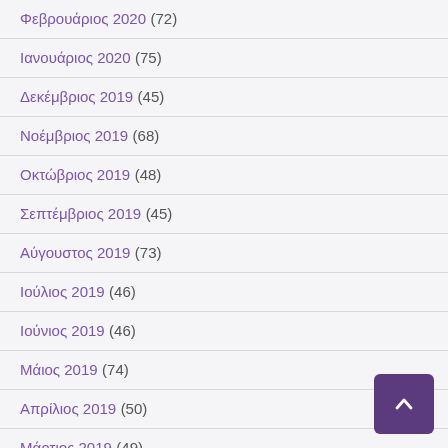Φεβρουάριος 2020 (72)
Ιανουάριος 2020 (75)
Δεκέμβριος 2019 (45)
Νοέμβριος 2019 (68)
Οκτώβριος 2019 (48)
Σεπτέμβριος 2019 (45)
Αύγουστος 2019 (73)
Ιούλιος 2019 (46)
Ιούνιος 2019 (46)
Μάιος 2019 (74)
Απρίλιος 2019 (50)
Μάρτιος 2019 (49)